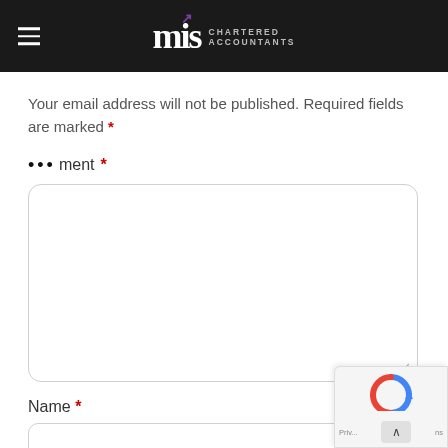mts CHARTERED ACCOUNTANTS
Your email address will not be published. Required fields are marked *
Comment *
[Figure (screenshot): Comment text area input field with rounded border, empty, with resize handle at bottom right]
Name *
[Figure (screenshot): Name text input field with rounded border, empty]
[Figure (screenshot): reCAPTCHA widget overlay at bottom right with blue/red logo and Privacy/Terms links, with a scroll-up arrow button]